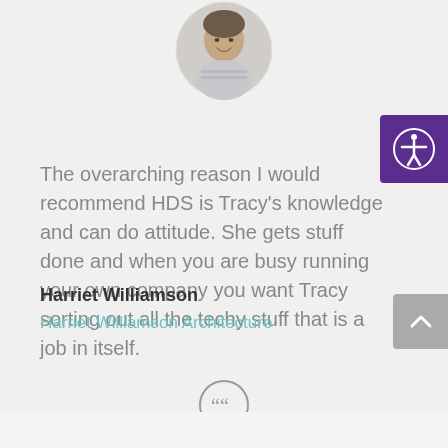[Figure (photo): Circular cropped profile photo of a woman smiling, wearing a striped top]
The overarching reason I would recommend HDS is Tracy's knowledge and can do attitude. She gets stuff done and when you are busy running your own company you want Tracy sorting out all the techy stuff that is a job in itself.
Harriet Williamson
Harriet Williamson Architecture
[Figure (other): Circular quote icon with two closing quotation marks (99), gray outline circle]
[Figure (photo): Circular cropped profile photo of a woman with long dark hair, grayscale]